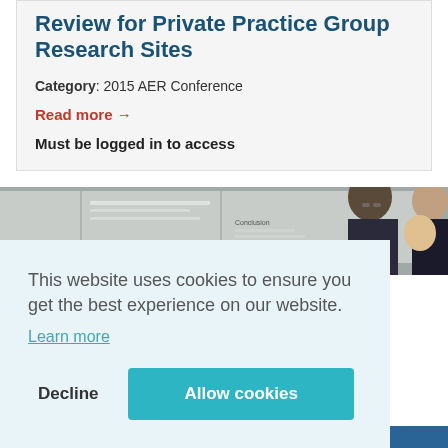Review for Private Practice Group Research Sites
Category: 2015 AER Conference
Read more →
Must be logged in to access
[Figure (photo): Photo of people at a conference poster session]
This website uses cookies to ensure you get the best experience on our website.
Learn more
Decline
Allow cookies